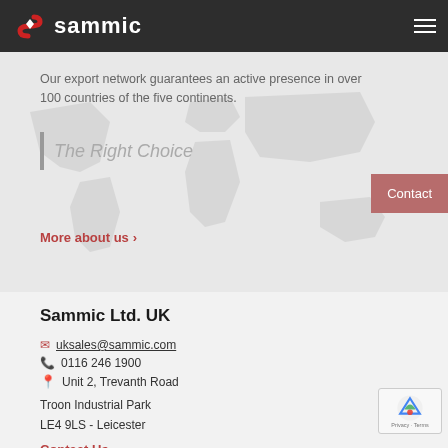sammic
Our export network guarantees an active presence in over 100 countries of the five continents.
The Right Choice
Contact
More about us
Sammic Ltd. UK
uksales@sammic.com
0116 246 1900
Unit 2, Trevanth Road
Troon Industrial Park
LE4 9LS - Leicester
Contact Us